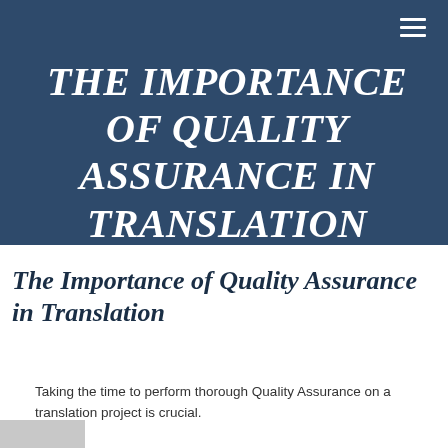☰
THE IMPORTANCE OF QUALITY ASSURANCE IN TRANSLATION
The Importance of Quality Assurance in Translation
Taking the time to perform thorough Quality Assurance on a translation project is crucial.